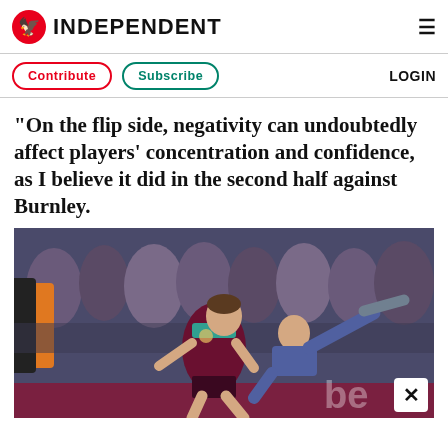INDEPENDENT
Contribute   Subscribe   LOGIN
"On the flip side, negativity can undoubtedly affect players' concentration and confidence, as I believe it did in the second half against Burnley.
[Figure (photo): A West Ham United footballer in claret and blue kit struggles with a pitch invader wearing jeans during a match, with a referee and crowd visible in the background. A 'bet' advertising hoarding is visible.]